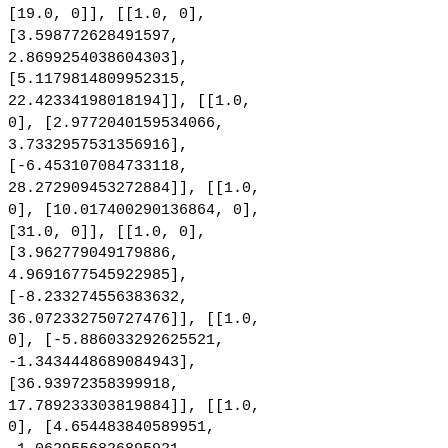[19.0, 0]], [[1.0, 0], [3.598772628491597, 2.8699254038604303], [5.1179814809952315, 22.42334198018194]], [[1.0, 0], [2.9772040159534066, 3.7332957531356916], [-6.453107084733118, 28.272909453272884]], [[1.0, 0], [10.017400290136864, 0], [31.0, 0]], [[1.0, 0], [3.962779049179886, 4.9691677545922985], [-8.233274556383632, 36.072332750727476]], [[1.0, 0], [-5.886033292625521, -1.3434448689084943], [36.93972358399918, 17.789233303819884]], [[1.0, 0], [4.654483840589951, -1.0629556826895921